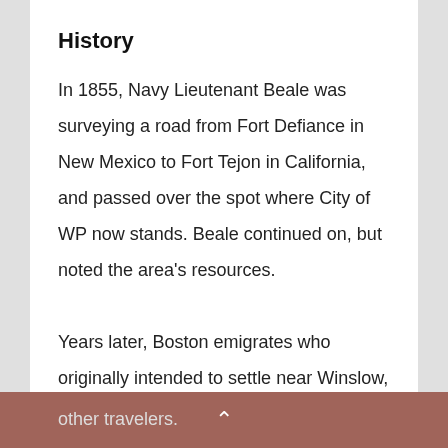History
In 1855, Navy Lieutenant Beale was surveying a road from Fort Defiance in New Mexico to Fort Tejon in California, and passed over the spot where City of WP now stands. Beale continued on, but noted the area’s resources.

Years later, Boston emigrates who originally intended to settle near Winslow, but found the area already settled in, moved on towards California. On July 4, 1876, the emigrates stripped a pine tree and raised an American flag celebrating the nation’s centennial. Their “flag staff” became a landmark for other travelers.
other travelers.